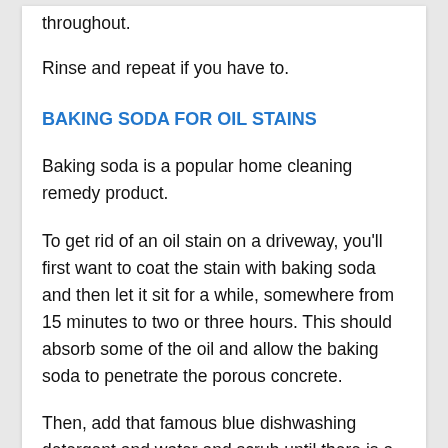throughout.
Rinse and repeat if you have to.
BAKING SODA FOR OIL STAINS
Baking soda is a popular home cleaning remedy product.
To get rid of an oil stain on a driveway, you'll first want to coat the stain with baking soda and then let it sit for a while, somewhere from 15 minutes to two or three hours. This should absorb some of the oil and allow the baking soda to penetrate the porous concrete.
Then, add that famous blue dishwashing detergent and water and scrub until there is a thick paste. Again, let this sit for optimal penetration, or continue to scrub in a circular motion, then rinse.
Just like the Dawn Sola method, you might also want...